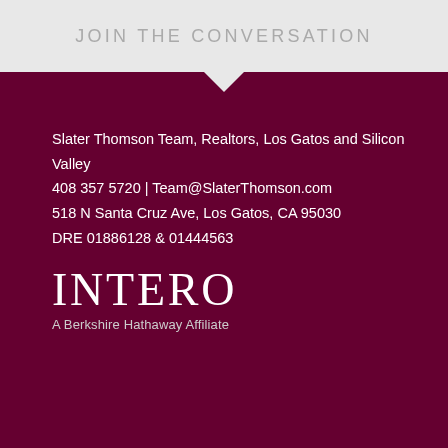JOIN THE CONVERSATION
Slater Thomson Team, Realtors, Los Gatos and Silicon Valley
408 357 5720 | Team@SlaterThomson.com
518 N Santa Cruz Ave, Los Gatos, CA 95030
DRE 01886128 & 01444563
[Figure (logo): INTERO A Berkshire Hathaway Affiliate logo in white text on dark maroon background]